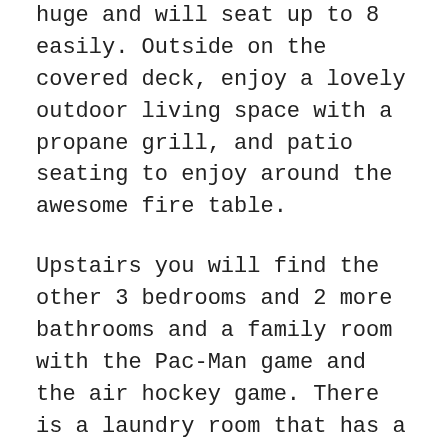huge and will seat up to 8 easily. Outside on the covered deck, enjoy a lovely outdoor living space with a propane grill, and patio seating to enjoy around the awesome fire table.
Upstairs you will find the other 3 bedrooms and 2 more bathrooms and a family room with the Pac-Man game and the air hockey game. There is a laundry room that has a full-size washer and dryer. Bedroom 3 has two queen beds and a full bathroom. There is a super fun bunk room for the kids with a Twin over full bunk and a Triple twin bunk bed. The fifth bedroom is so pretty with a queen bed and a sofa. All bedrooms have their own TVs which totals 7 TVs in the house!